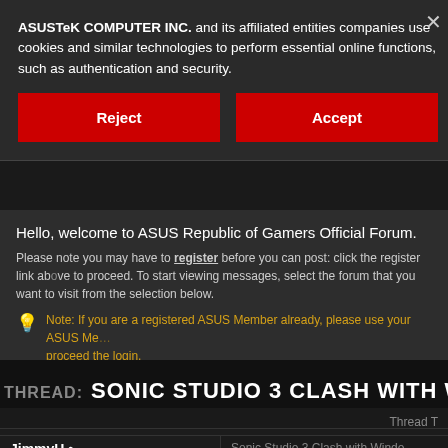ASUSTeK COMPUTER INC. and its affiliated entities companies use cookies and similar technologies to perform essential online functions, such as authentication and security.
Reject
Accept
Hello, welcome to ASUS Republic of Gamers Official Forum.
Please note you may have to register before you can post: click the register link above to proceed. To start viewing messages, select the forum that you want to visit from the selection below.
Note: If you are a registered ASUS Member already, please use your ASUS Member credentials to proceed the login.
THREAD: SONIC STUDIO 3 CLASH WITH WINDO
Thread T
10-13-2021 08:08 AM
JimmyH •
Sonic Studio 3 Clash with Windo...